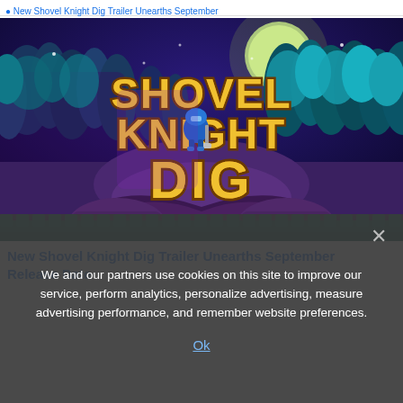New Shovel Knight Dig Trailer Unearths September Release Date
[Figure (screenshot): Shovel Knight Dig game promotional image with title logo on dark fantasy forest background with blue knight character]
New Shovel Knight Dig Trailer Unearths September Release Date
We and our partners use cookies on this site to improve our service, perform analytics, personalize advertising, measure advertising performance, and remember website preferences.
Ok